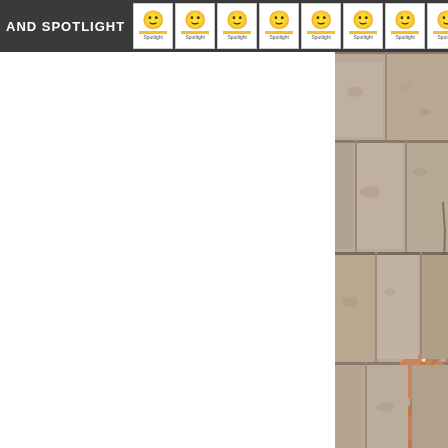AND SPOTLIGHT
[Figure (photo): A child's hand touching or writing on a large stone wall, with rough stone texture visible. The photograph is partially cropped, showing only the right portion of the image.]